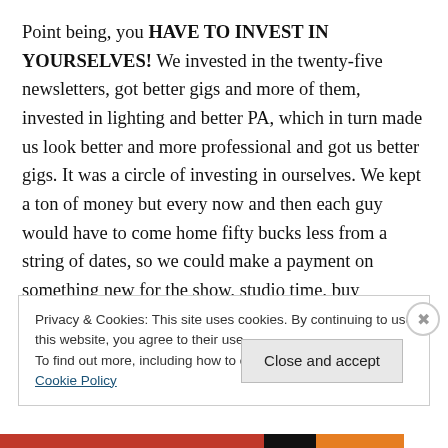Point being, you HAVE TO INVEST IN YOURSELVES! We invested in the twenty-five newsletters, got better gigs and more of them, invested in lighting and better PA, which in turn made us look better and more professional and got us better gigs. It was a circle of investing in ourselves. We kept a ton of money but every now and then each guy would have to come home fifty bucks less from a string of dates, so we could make a payment on something new for the show, studio time, buy merchandise, or promotional material. We were a business. We were in show business.
Privacy & Cookies: This site uses cookies. By continuing to use this website, you agree to their use.
To find out more, including how to control cookies, see here: Cookie Policy